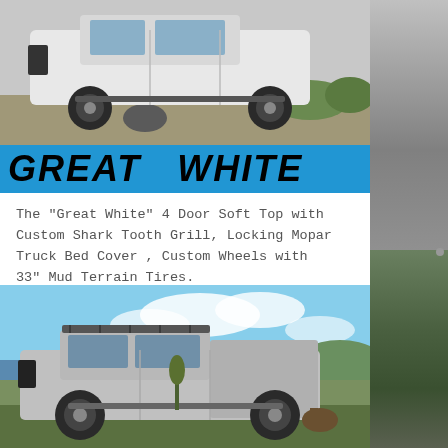[Figure (photo): White Jeep Gladiator viewed from side/rear, parked on gravel with rocks and green vegetation in background]
GREAT WHITE
The "Great White" 4 Door Soft Top with Custom Shark Tooth Grill, Locking Mopar Truck Bed Cover , Custom Wheels with 33" Mud Terrain Tires.
BOOK NOW >>
[Figure (photo): Silver Jeep Gladiator pickup truck parked on hillside with cloudy blue sky, ocean, and green hills in background. Horse visible behind truck.]